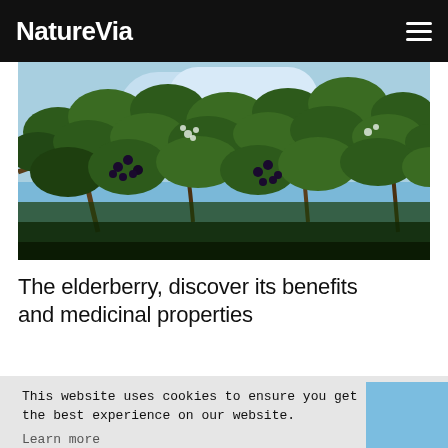NatureVia
[Figure (photo): Close-up of elderberry plant with green leaves and dark berries against a blue sky background]
The elderberry, discover its benefits and medicinal properties
This website uses cookies to ensure you get the best experience on our website. Learn more